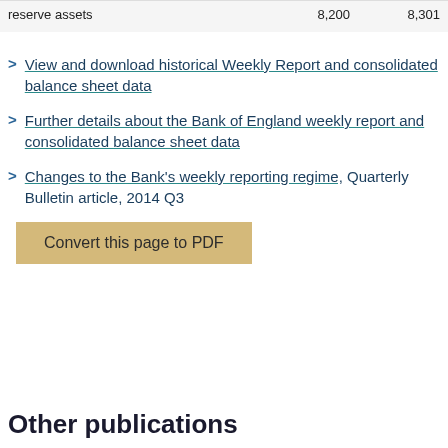| reserve assets | 8,200 | 8,301 |
View and download historical Weekly Report and consolidated balance sheet data
Further details about the Bank of England weekly report and consolidated balance sheet data
Changes to the Bank's weekly reporting regime, Quarterly Bulletin article, 2014 Q3
Convert this page to PDF
Other publications